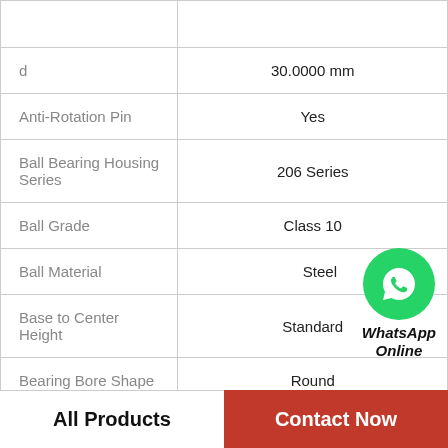| Property | Value |
| --- | --- |
| d | 30.0000 mm |
| Anti-Rotation Pin | Yes |
| Ball Bearing Housing Series | 206 Series |
| Ball Grade | Class 10 |
| Ball Material | Steel |
| Base to Center Height | Standard |
| Bearing Bore Shape | Round |
| Bearing Inner Ring | Steel |
[Figure (logo): WhatsApp Online button with green circle phone icon and bold italic text 'WhatsApp Online']
All Products | Contact Now